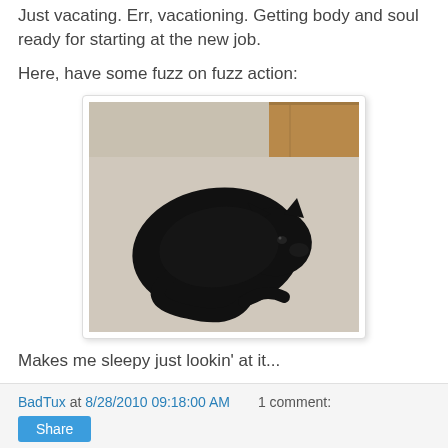Just vacating. Err, vacationing. Getting body and soul ready for starting at the new job.
Here, have some fuzz on fuzz action:
[Figure (photo): A black cat curled up sleeping on a light gray carpet or bedding, with a wooden surface visible in the background.]
Makes me sleepy just lookin' at it...
-- Badtux the Sleepy Penguin
BadTux at 8/28/2010 09:18:00 AM   1 comment: